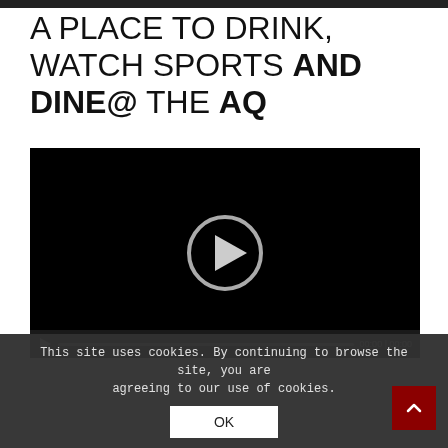[Figure (screenshot): Navigation bar strip at the top of the webpage]
A PLACE TO DRINK, WATCH SPORTS AND DINE@ THE AQ
[Figure (screenshot): Black video player with a circular play button in the center and video controls bar at the bottom showing 00:00 | 00:00]
This site uses cookies. By continuing to browse the site, you are agreeing to our use of cookies.
OK